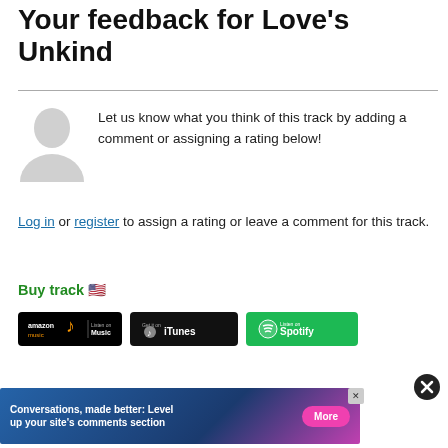Your feedback for Love's Unkind
Let us know what you think of this track by adding a comment or assigning a rating below!
Log in or register to assign a rating or leave a comment for this track.
Buy track 🇺🇸
[Figure (logo): Amazon Music badge]
[Figure (logo): iTunes badge]
[Figure (logo): Spotify badge]
[Figure (screenshot): Advertisement banner: Conversations, made better: Level up your site's comments section with More button]